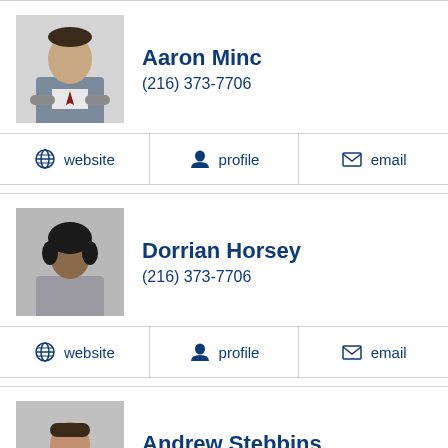Aaron Minc
(216) 373-7706
website | profile | email
Dorrian Horsey
(216) 373-7706
website | profile | email
Andrew Stebbins
(216) 373-7706